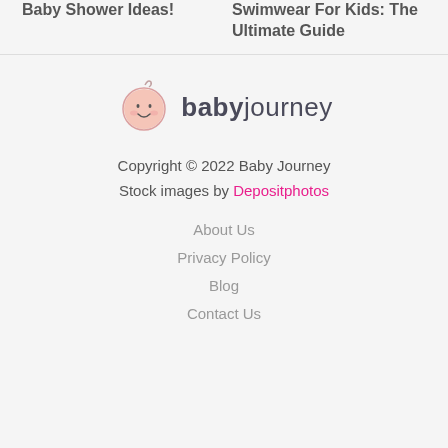Baby Shower Ideas!
Swimwear For Kids: The Ultimate Guide
[Figure (logo): Baby Journey logo with baby face icon and text 'babyjourney']
Copyright © 2022 Baby Journey
Stock images by Depositphotos
About Us
Privacy Policy
Blog
Contact Us